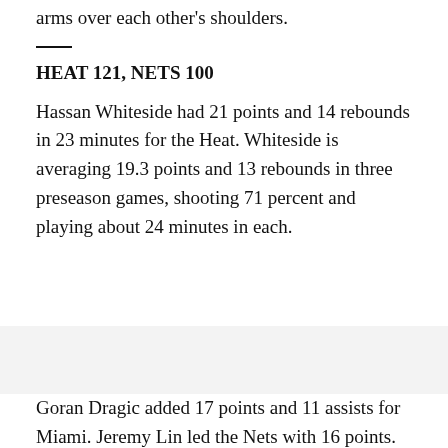arms over each other's shoulders.
HEAT 121, NETS 100
Hassan Whiteside had 21 points and 14 rebounds in 23 minutes for the Heat. Whiteside is averaging 19.3 points and 13 rebounds in three preseason games, shooting 71 percent and playing about 24 minutes in each.
Goran Dragic added 17 points and 11 assists for Miami. Jeremy Lin led the Nets with 16 points.
NETS: Brooklyn was down by 12 in the first quarter,